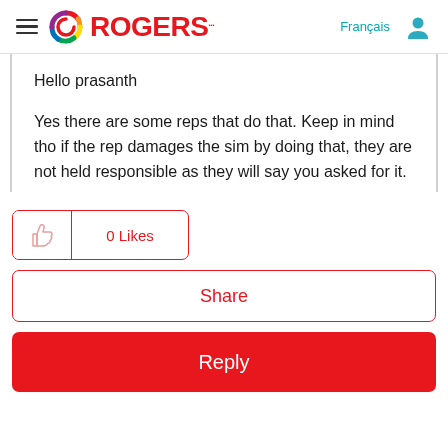Rogers — Français
Hello prasanth
Yes there are some reps that do that. Keep in mind tho if the rep damages the sim by doing that, they are not held responsible as they will say you asked for it.
[Figure (screenshot): 0 Likes button with thumbs up icon, red border]
[Figure (screenshot): Share button with red border and red text]
[Figure (screenshot): Reply button with red background and white text]